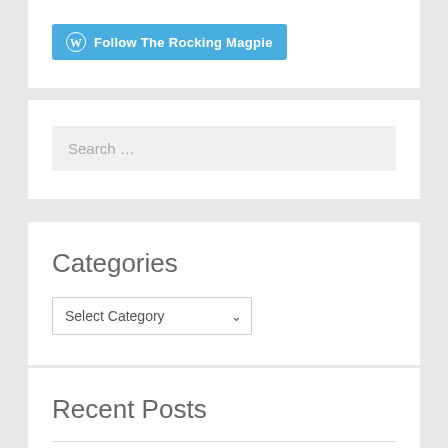[Figure (other): WordPress Follow button: blue rounded button with WordPress logo icon and text 'Follow The Rocking Magpie']
Search …
Categories
Select Category
Recent Posts
RMHQ Radio Show Ep16 @NovaRadioNE